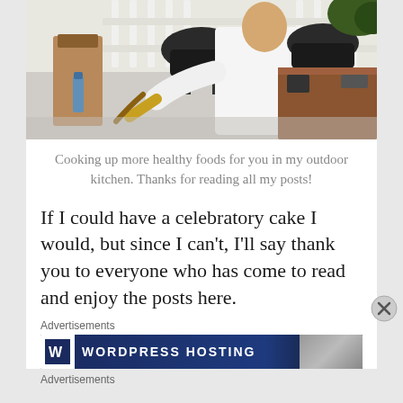[Figure (photo): A person in a white chef's coat working at an outdoor kitchen with a grill, brown paper bag, and wooden fence in the background]
Cooking up more healthy foods for you in my outdoor kitchen. Thanks for reading all my posts!
If I could have a celebratory cake I would, but since I can't, I'll say thank you to everyone who has come to read and enjoy the posts here.
Advertisements
[Figure (screenshot): WordPress Hosting advertisement banner]
Advertisements